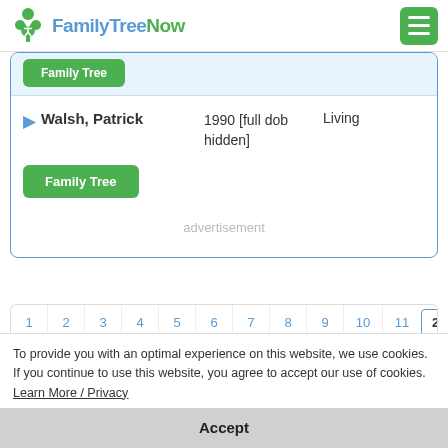FamilyTreeNow
Walsh, Patrick  1990 [full dob hidden]  Living
Family Tree
advertisement
1  2  3  4  5  6  7  8  9  10  11  ...  21
Page 1 of 21
To provide you with an optimal experience on this website, we use cookies. If you continue to use this website, you agree to accept our use of cookies.  Learn More / Privacy
Accept